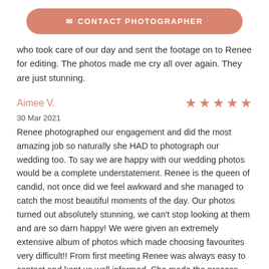[Figure (other): Contact Photographer button - rounded rectangle salmon/terracotta colored button with envelope icon and text 'CONTACT PHOTOGRAPHER']
who took care of our day and sent the footage on to Renee for editing. The photos made me cry all over again. They are just stunning.
Aimee V.
[Figure (other): 5 star rating shown as filled salmon/terracotta colored stars]
30 Mar 2021
Renee photographed our engagement and did the most amazing job so naturally she HAD to photograph our wedding too. To say we are happy with our wedding photos would be a complete understatement. Renee is the queen of candid, not once did we feel awkward and she managed to catch the most beautiful moments of the day. Our photos turned out absolutely stunning, we can't stop looking at them and are so darn happy! We were given an extremely extensive album of photos which made choosing favourites very difficult!! From first meeting Renee was always easy to contact and kept us well informed. She made the process super simple